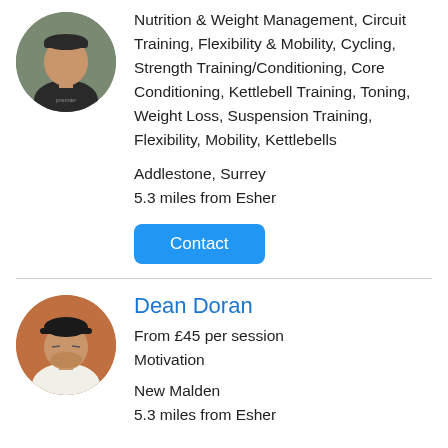[Figure (photo): Circular avatar photo of a personal trainer wearing a dark Premier shirt, outdoors with green background]
Nutrition & Weight Management, Circuit Training, Flexibility & Mobility, Cycling, Strength Training/Conditioning, Core Conditioning, Kettlebell Training, Toning, Weight Loss, Suspension Training, Flexibility, Mobility, Kettlebells
Addlestone, Surrey
5.3 miles from Esher
Contact
[Figure (photo): Circular avatar photo of Dean Doran wearing a black cap and white t-shirt, in front of an orange/brown background]
Dean Doran
From £45 per session
Motivation
New Malden
5.3 miles from Esher